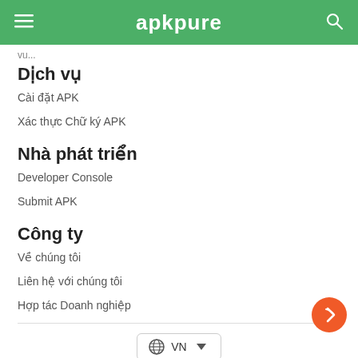apkpure
Dịch vụ
Cài đặt APK
Xác thực Chữ ký APK
Nhà phát triển
Developer Console
Submit APK
Công ty
Về chúng tôi
Liên hệ với chúng tôi
Hợp tác Doanh nghiệp
Bản quyền APKPure © 2014-2022. Mọi quyền được bảo lưu. | Chính sách